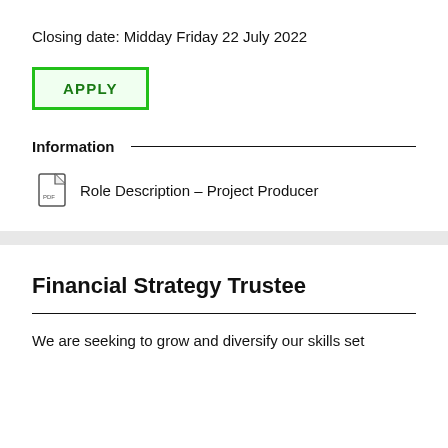Closing date: Midday Friday 22 July 2022
[Figure (other): Green-bordered APPLY button with drop shadow]
Information
Role Description – Project Producer
Financial Strategy Trustee
We are seeking to grow and diversify our skills set